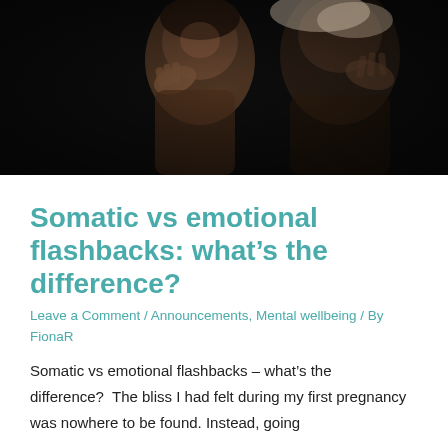[Figure (photo): A dark, moody photograph showing a distressed person with hands raised near their face, seemingly in anxiety or distress, with a dark background.]
Somatic vs emotional flashbacks: what’s the difference?
Leave a Comment / Announcements, Mental wellbeing / By FionaR
Somatic vs emotional flashbacks – what’s the difference?   The bliss I had felt during my first pregnancy was nowhere to be found. Instead, going